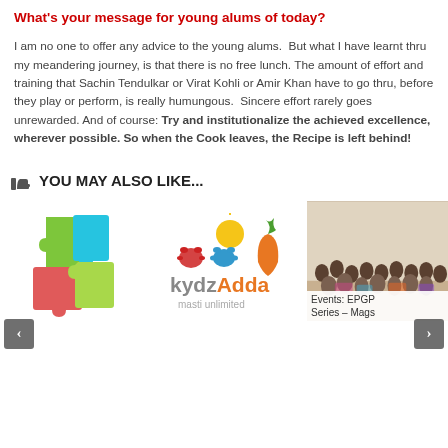What's your message for young alums of today?
I am no one to offer any advice to the young alums.  But what I have learnt thru my meandering journey, is that there is no free lunch. The amount of effort and training that Sachin Tendulkar or Virat Kohli or Amir Khan have to go thru, before they play or perform, is really humungous.  Sincere effort rarely goes unrewarded. And of course: Try and institutionalize the achieved excellence, wherever possible. So when the Cook leaves, the Recipe is left behind!
YOU MAY ALSO LIKE...
[Figure (photo): Colorful puzzle pieces (green, blue, red) arranged together]
[Figure (logo): kydzAdda masti unlimited logo with colorful paw prints and carrot]
[Figure (photo): Group photo of people at an event, partially visible]
Events: EPGP Series – Mags